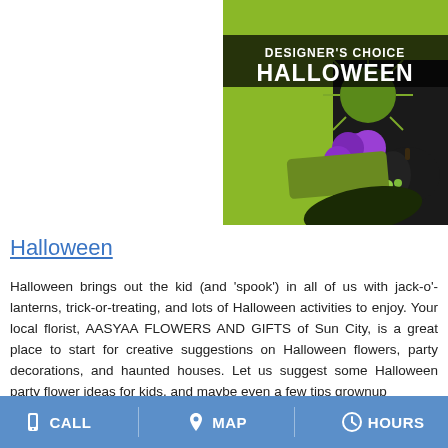[Figure (photo): Halloween floral arrangement labeled 'Designer's Choice Halloween' showing green spider mums, purple carnations, black pumpkins, green berries on a lime green background]
Halloween
Halloween brings out the kid (and 'spook') in all of us with jack-o'-lanterns, trick-or-treating, and lots of Halloween activities to enjoy. Your local florist, AASYAA FLOWERS AND GIFTS of Sun City, is a great place to start for creative suggestions on Halloween flowers, party decorations, and haunted houses. Let us suggest some Halloween party flower ideas for kids, and maybe even a few tips grownup
CALL   MAP   HOURS